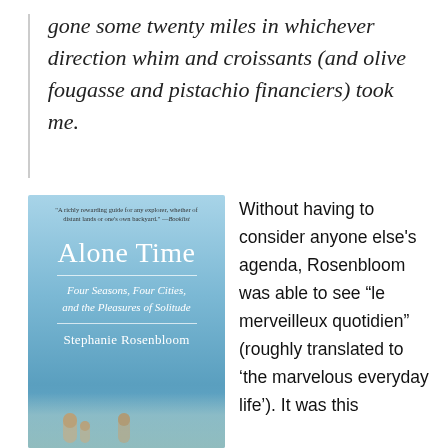gone some twenty miles in whichever direction whim and croissants (and olive fougasse and pistachio financiers) took me.
[Figure (photo): Book cover of 'Alone Time: Four Seasons, Four Cities, and the Pleasures of Solitude' by Stephanie Rosenbloom, with a light blue sky background and blurred cityscape at the bottom.]
Without having to consider anyone else's agenda, Rosenbloom was able to see “le merveilleux quotidien” (roughly translated to ‘the marvelous everyday life’). It was this